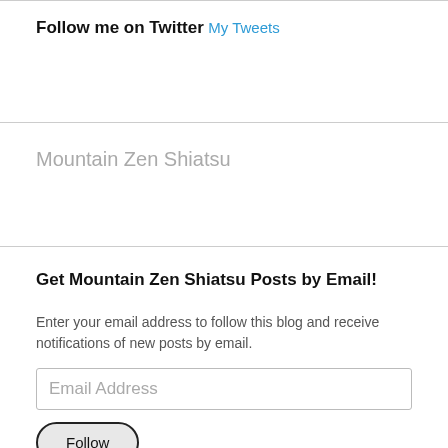Follow me on Twitter
My Tweets
Mountain Zen Shiatsu
Get Mountain Zen Shiatsu Posts by Email!
Enter your email address to follow this blog and receive notifications of new posts by email.
Email Address
Follow